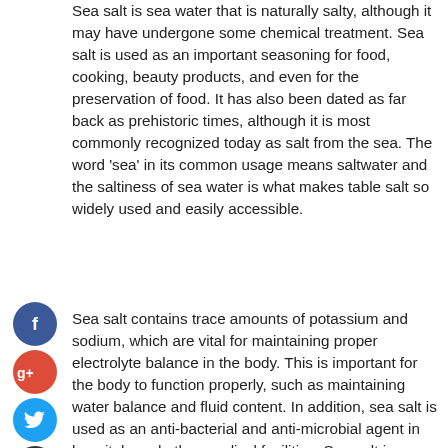Sea salt is sea water that is naturally salty, although it may have undergone some chemical treatment. Sea salt is used as an important seasoning for food, cooking, beauty products, and even for the preservation of food. It has also been dated as far back as prehistoric times, although it is most commonly recognized today as salt from the sea. The word 'sea' in its common usage means saltwater and the saltiness of sea water is what makes table salt so widely used and easily accessible.
[Figure (other): Social media sharing icons: Facebook (blue circle with f), Google+ (red circle with g+), Twitter (blue circle with bird), and a dark circle with plus sign]
Sea salt contains trace amounts of potassium and sodium, which are vital for maintaining proper electrolyte balance in the body. This is important for the body to function properly, such as maintaining water balance and fluid content. In addition, sea salt is used as an anti-bacterial and anti-microbial agent in hospitals and other medical facilities. Sea salt is commonly used as part of a variety of cosmetic